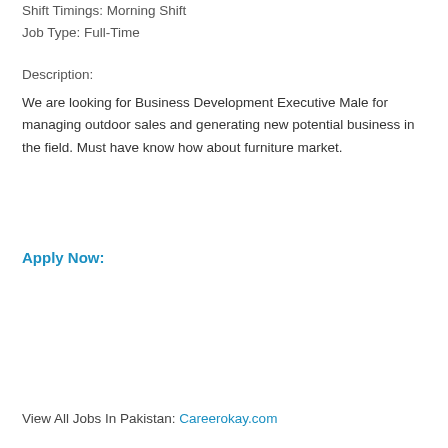Shift Timings: Morning Shift
Job Type: Full-Time
Description:
We are looking for Business Development Executive Male for managing outdoor sales and generating new potential business in the field. Must have know how about furniture market.
Apply Now:
View All Jobs In Pakistan: Careerokay.com